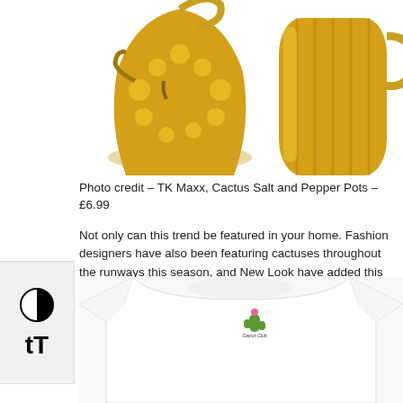[Figure (photo): Two gold metallic cactus-shaped salt and pepper pots on a white background, partially visible at top of page.]
Photo credit – TK Maxx, Cactus Salt and Pepper Pots – £6.99
Not only can this trend be featured in your home. Fashion designers have also been featuring cactuses throughout the runways this season, and New Look have added this cute – but prickly sentiment to their SS17 range.
[Figure (photo): White fitted t-shirt with a small cactus emblem/embroidery on the chest area, on a white background.]